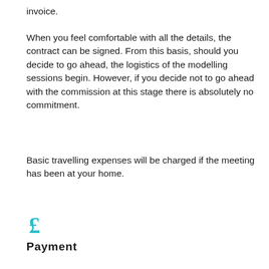invoice.
When you feel comfortable with all the details, the contract can be signed. From this basis, should you decide to go ahead, the logistics of the modelling sessions begin. However, if you decide not to go ahead with the commission at this stage there is absolutely no commitment.
Basic travelling expenses will be charged if the meeting has been at your home.
[Figure (illustration): Cyan/teal pound sterling (£) symbol icon]
Payment